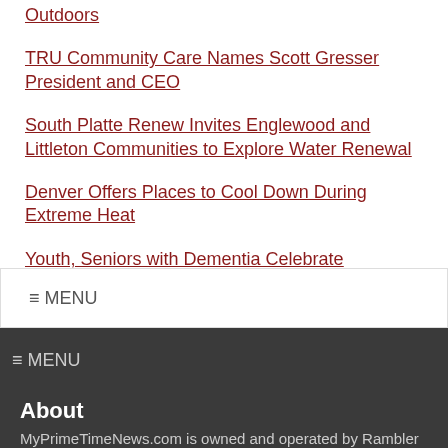Outdoors
TRU Community Care Names Scott Gresser President and CEO
South Platte Renew Invites Englewood and Littleton Communities to Explore Water Renewal
Denver Offers Places to Cool Down During Extreme Heat
Youth, Seniors with Dementia Celebrate Unplugged Summer
≡ MENU
≡ MENU
About
MyPrimeTimeNews.com is owned and operated by Rambler